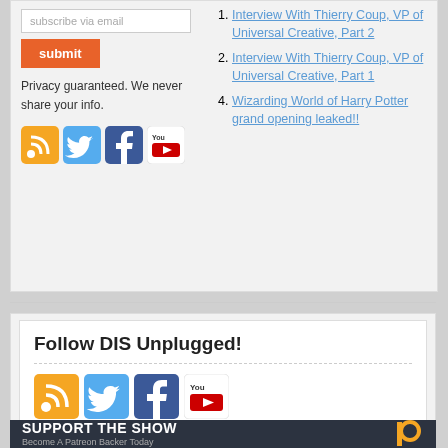[Figure (screenshot): Email subscribe input field with placeholder 'subscribe via email']
[Figure (screenshot): Orange submit button]
Privacy guaranteed. We never share your info.
[Figure (infographic): Social media icons: RSS (orange), Twitter (blue), Facebook (dark blue), YouTube (red/white)]
Interview With Thierry Coup, VP of Universal Creative, Part 2
Interview With Thierry Coup, VP of Universal Creative, Part 1
Wizarding World of Harry Potter grand opening leaked!!
Follow DIS Unplugged!
[Figure (infographic): Social media icons: RSS (orange), Twitter (blue), Facebook (dark blue), YouTube (red/white)]
[Figure (infographic): Support the Show - Become A Patreon Backer Today banner with Patreon logo]